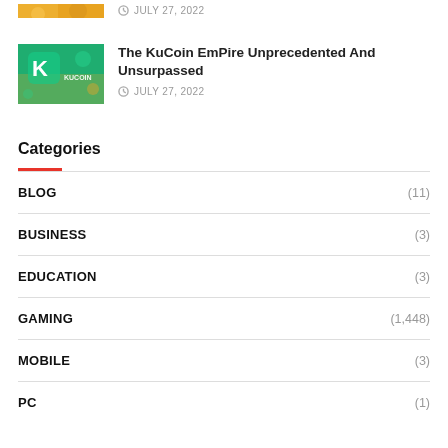[Figure (photo): Partial thumbnail image of an article, orange/yellow colored, cropped at top]
JULY 27, 2022
[Figure (photo): KuCoin branded thumbnail image with green background and KuCoin logo]
The KuCoin EmPire Unprecedented And Unsurpassed
JULY 27, 2022
Categories
BLOG (11)
BUSINESS (3)
EDUCATION (3)
GAMING (1,448)
MOBILE (3)
PC (1)